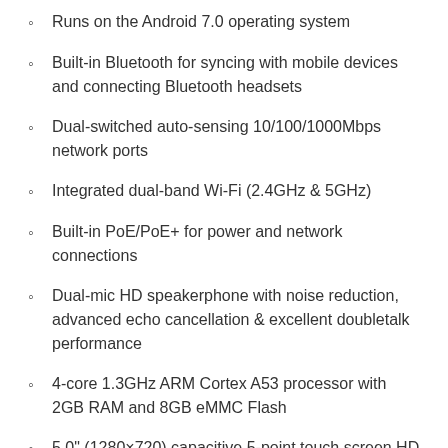Runs on the Android 7.0 operating system
Built-in Bluetooth for syncing with mobile devices and connecting Bluetooth headsets
Dual-switched auto-sensing 10/100/1000Mbps network ports
Integrated dual-band Wi-Fi (2.4GHz & 5GHz)
Built-in PoE/PoE+ for power and network connections
Dual-mic HD speakerphone with noise reduction, advanced echo cancellation & excellent doubletalk performance
4-core 1.3GHz ARM Cortex A53 processor with 2GB RAM and 8GB eMMC Flash
5.0" (1280×720) capacitive 5-point touch screen HD TFT